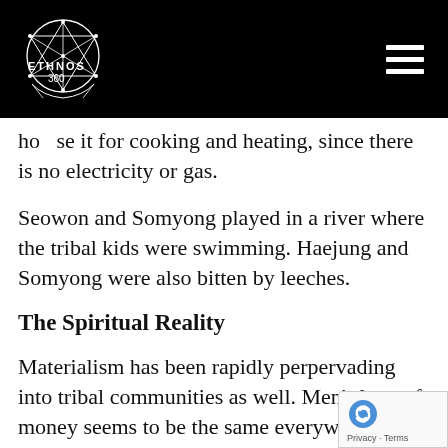ETHNOS 360
ho…se it for cooking and heating, since there is no electricity or gas.
Seowon and Somyong played in a river where the tribal kids were swimming. Haejung and Somyong were also bitten by leeches.
The Spiritual Reality
Materialism has been rapidly perpervading into tribal communities as well. Men's love of money seems to be the same everywhere.